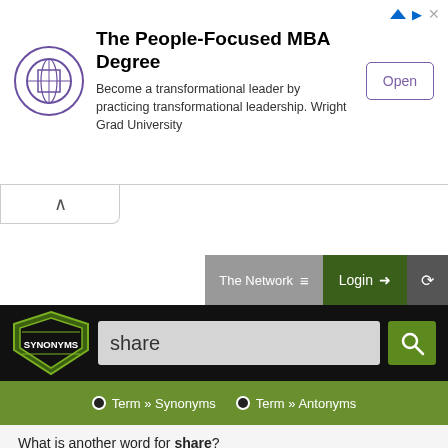[Figure (screenshot): Advertisement banner for Wright Grad University MBA Degree with logo, text, and Open button]
The People-Focused MBA Degree
Become a transformational leader by practicing transformational leadership. Wright Grad University
[Figure (screenshot): Synonyms.com website navigation bar with The Network menu, Login button, and history icon]
[Figure (screenshot): Synonyms.com search header with logo, search field containing 'share', search button, and Term Synonyms / Term Antonyms tabs]
What is another word for share?
Synonyms for share
ʃɛər  share
This thesaurus page is about all possible synonyms, equivalent, same meaning and similar words for the term share.